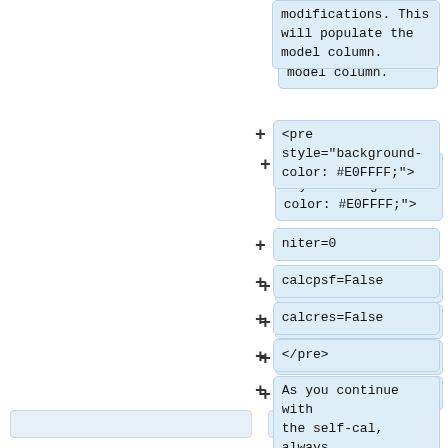modifications. This will populate the model column.
<pre style="background-color: #E0FFFF;">
niter=0
calcpsf=False
calcres=False
</pre>
As you continue with the self-cal, always make sure the model column is saved after runnint {{tclean}}.